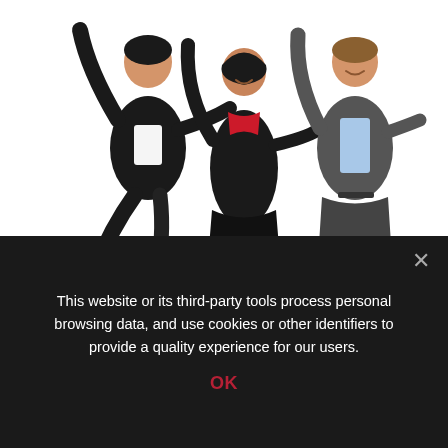[Figure (photo): Three business people jumping joyfully against a white background. One person in a black suit on the left, a woman in a black outfit with red accent in the middle, and a man in a light blue shirt and dark pants on the right.]
There's nothing like the feeling of yes.
SIGN UP FOR A FREE TRIAL
This website or its third-party tools process personal browsing data, and use cookies or other identifiers to provide a quality experience for our users.
OK